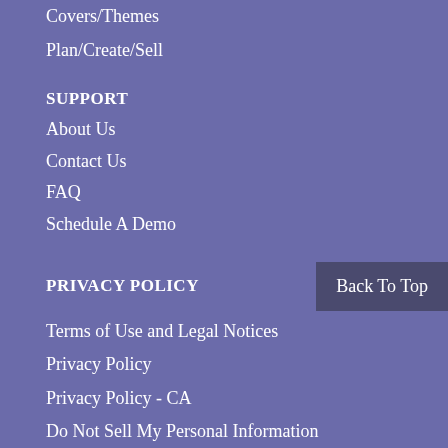Covers/Themes
Plan/Create/Sell
SUPPORT
About Us
Contact Us
FAQ
Schedule A Demo
PRIVACY POLICY
Terms of Use and Legal Notices
Privacy Policy
Privacy Policy - CA
Do Not Sell My Personal Information